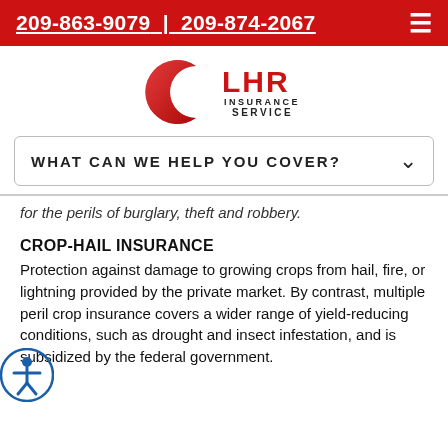209-863-9079 | 209-874-2067
[Figure (logo): LHR Insurance Service logo with red crescent shape and LHR text in red, INSURANCE SERVICE in black]
WHAT CAN WE HELP YOU COVER?
for the perils of burglary, theft and robbery.
CROP-HAIL INSURANCE
Protection against damage to growing crops from hail, fire, or lightning provided by the private market. By contrast, multiple peril crop insurance covers a wider range of yield-reducing conditions, such as drought and insect infestation, and is subsidized by the federal government.